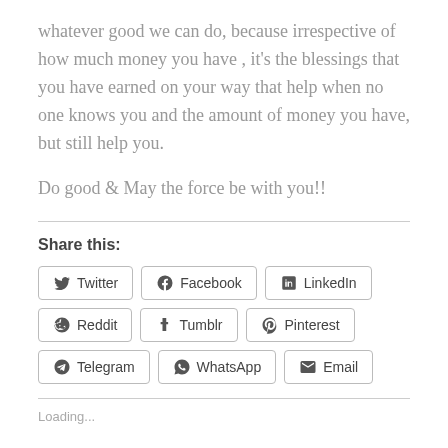whatever good we can do, because irrespective of how much money you have , it's the blessings that you have earned on your way that help when no one knows you and the amount of money you have, but still help you.

Do good &  May the force be with you!!
Share this:
Twitter | Facebook | LinkedIn | Reddit | Tumblr | Pinterest | Telegram | WhatsApp | Email
Loading...